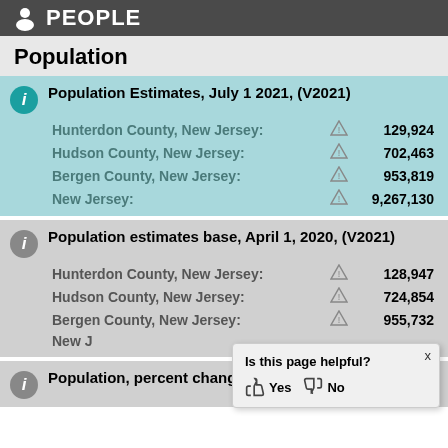PEOPLE
Population
Population Estimates, July 1 2021, (V2021)
Hunterdon County, New Jersey: 129,924
Hudson County, New Jersey: 702,463
Bergen County, New Jersey: 953,819
New Jersey: 9,267,130
Population estimates base, April 1, 2020, (V2021)
Hunterdon County, New Jersey: 128,947
Hudson County, New Jersey: 724,854
Bergen County, New Jersey: 955,732
New J...
Population, percent change -
Is this page helpful? Yes No